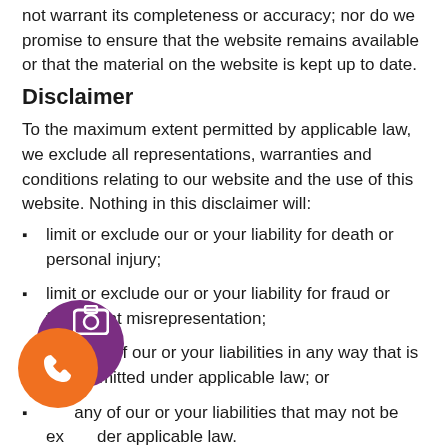not warrant its completeness or accuracy; nor do we promise to ensure that the website remains available or that the material on the website is kept up to date.
Disclaimer
To the maximum extent permitted by applicable law, we exclude all representations, warranties and conditions relating to our website and the use of this website. Nothing in this disclaimer will:
limit or exclude our or your liability for death or personal injury;
limit or exclude our or your liability for fraud or fraudulent misrepresentation;
limit any of our or your liabilities in any way that is not permitted under applicable law; or
exclude any of our or your liabilities that may not be excluded under applicable law.
The limitations and prohibitions of liability set in this Section